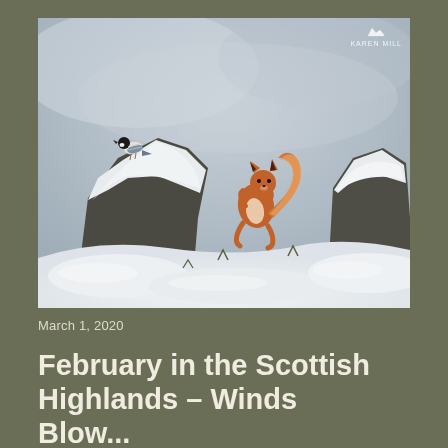[Figure (photo): A red squirrel standing on snow-covered rocks and logs in a winter Scottish Highland scene. A small bird (coal tit) perches on the left side of a large snow-covered piece of wood or rock. The background is a blurred grey winter sky. A watermark reading 'KAREN MILL' with a small logo appears in the top right of the photo.]
March 1, 2020
February in the Scottish Highlands – Winds Blow...